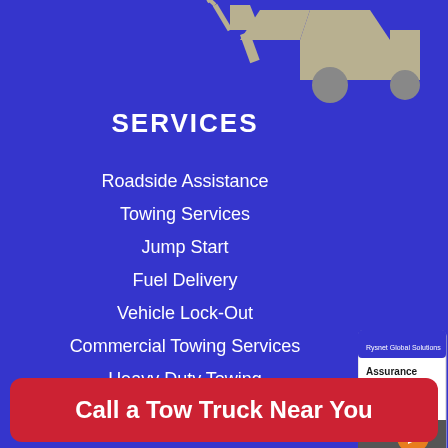[Figure (illustration): Partial tow truck illustration in light gray/beige color on blue background at top of page]
SERVICES
Roadside Assistance
Towing Services
Jump Start
Fuel Delivery
Vehicle Lock-Out
Commercial Towing Services
Heavy Duty Towing
[Figure (screenshot): Partial image of Rysnet Global Solutions Assurance Card with orange arrow button]
Call a Tow Truck Near You